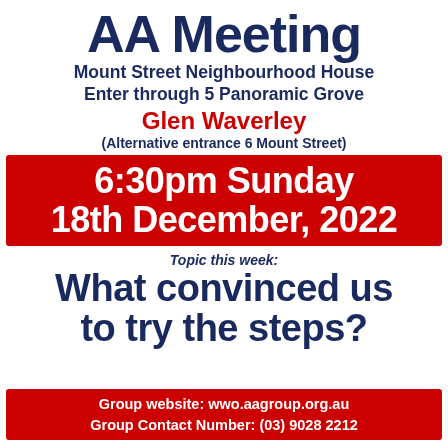AA Meeting
Mount Street Neighbourhood House
Enter through 5 Panoramic Grove
Glen Waverley
(Alternative entrance 6 Mount Street)
6:30pm Sunday
18th December, 2022
Topic this week:
What convinced us to try the steps?
Group website: wwo.aagroup.org.au
Group Contact Number: (03) 9028 2212